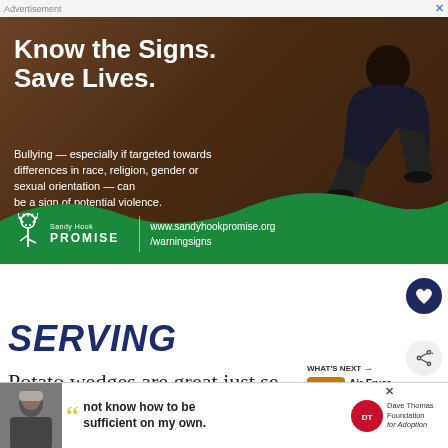[Figure (screenshot): Sandy Hook Promise advertisement: 'Know the Signs. Save Lives.' with image of person sitting against brick wall, green wave footer with logo and URL www.sandyhookpromise.org/warningsigns]
SERVING
Potato wedges are great just se with salt and black pepper (or try lemon pe
[Figure (photo): Air Fryer Potato thumbnail image]
WHAT'S NEXT → Air Fryer Potato...
[Figure (screenshot): Dave Thomas Foundation for Adoption advertisement: '"not know how to be sufficient on my own.']